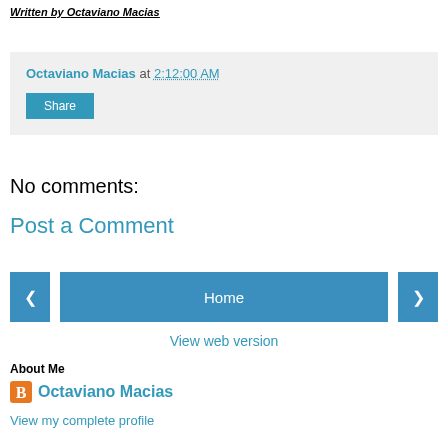Written by Octaviano Macias
Octaviano Macias at 2:12:00 AM
Share
No comments:
Post a Comment
Home
View web version
About Me
Octaviano Macias
View my complete profile